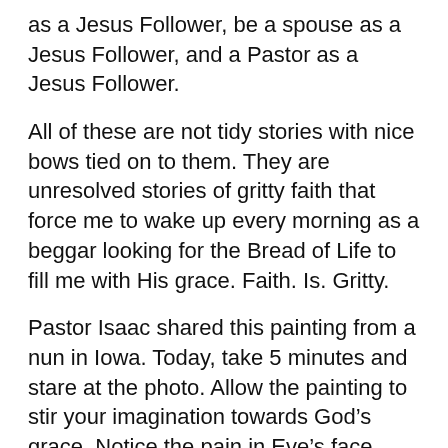as a Jesus Follower, be a spouse as a Jesus Follower, and a Pastor as a Jesus Follower.
All of these are not tidy stories with nice bows tied on to them. They are unresolved stories of gritty faith that force me to wake up every morning as a beggar looking for the Bread of Life to fill me with His grace. Faith. Is. Gritty.
Pastor Isaac shared this painting from a nun in Iowa. Today, take 5 minutes and stare at the photo. Allow the painting to stir your imagination towards God’s grace. Notice the pain in Eve’s face. Notice the compassion in Mary’s face. Notice the constriction of the serpent on Eve’s ankle. Notice the hope in the womb of Mary. Allow God to meet you in your own gritty story of faith. Write down any insights gained as you allow the Lord to meet you in your own gritty story of faith.